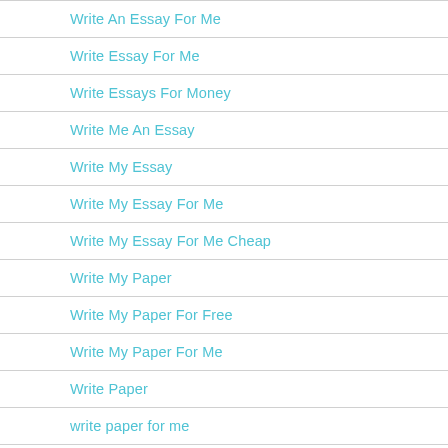Write An Essay For Me
Write Essay For Me
Write Essays For Money
Write Me An Essay
Write My Essay
Write My Essay For Me
Write My Essay For Me Cheap
Write My Paper
Write My Paper For Free
Write My Paper For Me
Write Paper
write paper for me